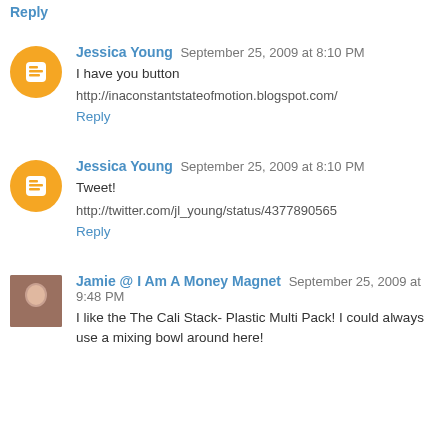Reply (partial, top of page)
Jessica Young  September 25, 2009 at 8:10 PM
I have you button
http://inaconstantstateofmotion.blogspot.com/
Reply
Jessica Young  September 25, 2009 at 8:10 PM
Tweet!
http://twitter.com/jl_young/status/4377890565
Reply
Jamie @ I Am A Money Magnet  September 25, 2009 at 9:48 PM
I like the The Cali Stack- Plastic Multi Pack! I could always use a mixing bowl around here!